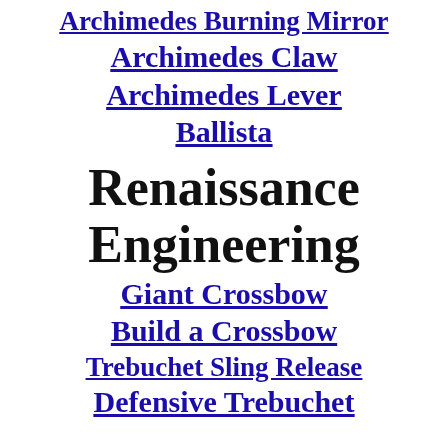Archimedes Burning Mirror
Archimedes Claw
Archimedes Lever
Ballista
Renaissance Engineering
Giant Crossbow
Build a Crossbow
Trebuchet Sling Release
Defensive Trebuchet